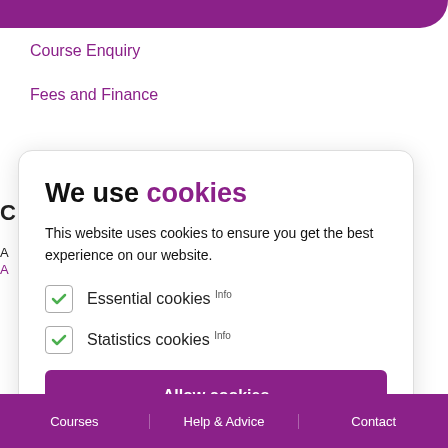Course Enquiry
Fees and Finance
We use cookies
This website uses cookies to ensure you get the best experience on our website.
Essential cookies Info
Statistics cookies Info
Allow cookies
Courses | Help & Advice | Contact